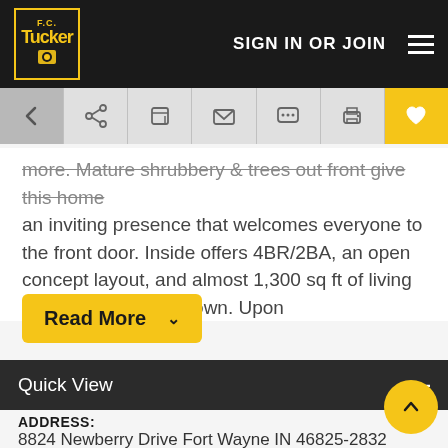F.C. Tucker | SIGN IN OR JOIN
more. Mature shrubbery & trees out front give this home an inviting presence that welcomes everyone to the front door. Inside offers 4BR/2BA, an open concept layout, and almost 1,300 sq ft of living space to make your own. Upon
Read More
Quick View
ADDRESS:
8824 Newberry Drive Fort Wayne IN 46825-2832
STATUS:
Sold
SOLD ON: